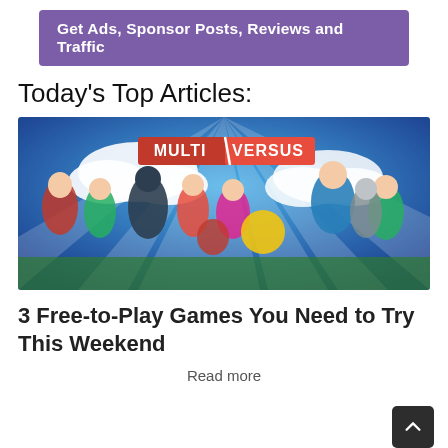[Figure (illustration): Purple banner with white bold text: Get Ads, Sponsor Posts, Reviews and Traffic]
Today's Top Articles:
[Figure (photo): MultiVersus promotional image showing animated characters including Wonder Woman, Batman, Harley Quinn, Superman, Finn, and others against a blue background with the MultiVersus logo]
3 Free-to-Play Games You Need to Try This Weekend
Read more